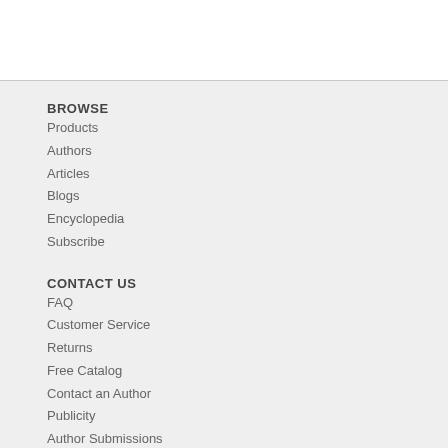BROWSE
Products
Authors
Articles
Blogs
Encyclopedia
Subscribe
CONTACT US
FAQ
Customer Service
Returns
Free Catalog
Contact an Author
Publicity
Author Submissions
Art Submissions